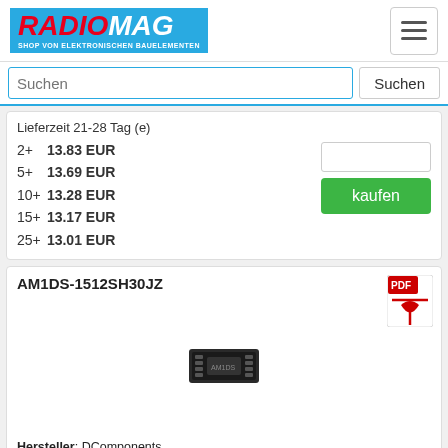RADIOMAG - SHOP VON ELEKTRONISCHEN BAUELEMENTEN
Suchen
Lieferzeit 21-28 Tag (e)
2+  13.83 EUR
5+  13.69 EUR
10+ 13.28 EUR
15+ 13.17 EUR
25+ 13.01 EUR
kaufen
AM1DS-1512SH30JZ
[Figure (photo): Small black DC/DC converter module chip component]
Hersteller: DComponents
Description: 1W DC/DC Converter